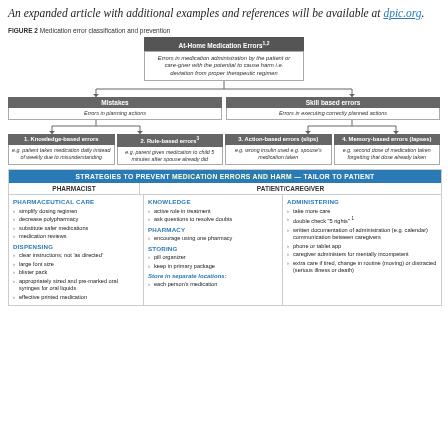An expanded article with additional examples and references will be available at dpic.org.
FIGURE 2 Medication error classification and prevention
[Figure (flowchart): Flowchart showing At-Home Medication Errors classification: Mistakes (Errors in planning actions) branching to 1. Knowledge-based errors and 2. Rule-based errors; Skill based errors (Errors in executing correctly planned actions) branching to 3. Action-based errors (slips) and 4. Memory-based errors (lapses)]
| STRATEGIES TO PREVENT MEDICATION ERRORS AND HARM — TAILOR TO PATIENT |  |  |
| --- | --- | --- |
| PHARMACIST | PATIENT/CAREGIVER |  |
| PHARMACEUTICAL CARE
› simplify dosing regimen
› decrease polypharmacy
› substitute safer medications
› medication reviews
DISPENSING
› clear instructions; not 'as directed'
› large font size
› blister pack
› appropriately sized and pre-marked oral syringes for oral liquids
› effective printed medication | KNOWLEDGE
› active role in treatment
› ask questions to resolve doubts
PHARMACY
› encourage using one pharmacy
STORING
› pill organizer
› keep in primary package
Store in separate locations:
› each person's medication | ADMINISTERING
› take more care
› double check '5 rights'
› written documentation of administration (e.g. calendar) communication between caregivers
› phone or tablet app
› caregiver administers for mentally incompetent
› extra care if tired, change in routine (moving) or distracted (serious illness or death) |